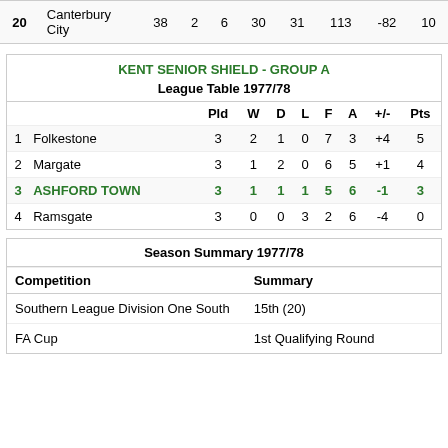|  | Team | Pld | W | D | L | F | A | +/- | Pts |
| --- | --- | --- | --- | --- | --- | --- | --- | --- | --- |
| 20 | Canterbury City | 38 | 2 | 6 | 30 | 31 | 113 | -82 | 10 |
|  |  | Pld | W | D | L | F | A | +/- | Pts |
| --- | --- | --- | --- | --- | --- | --- | --- | --- | --- |
| 1 | Folkestone | 3 | 2 | 1 | 0 | 7 | 3 | +4 | 5 |
| 2 | Margate | 3 | 1 | 2 | 0 | 6 | 5 | +1 | 4 |
| 3 | ASHFORD TOWN | 3 | 1 | 1 | 1 | 5 | 6 | -1 | 3 |
| 4 | Ramsgate | 3 | 0 | 0 | 3 | 2 | 6 | -4 | 0 |
| Competition | Summary |
| --- | --- |
| Southern League Division One South | 15th (20) |
| FA Cup | 1st Qualifying Round |